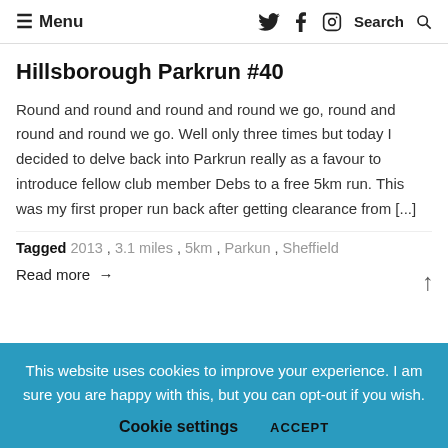Menu | Search
Hillsborough Parkrun #40
Round and round and round and round we go, round and round and round we go. Well only three times but today I decided to delve back into Parkrun really as a favour to introduce fellow club member Debs to a free 5km run. This was my first proper run back after getting clearance from [...]
Tagged 2013 , 3.1 miles , 5km , Parkrun , Sheffield
Read more →
This website uses cookies to improve your experience. I am sure you are happy with this, but you can opt-out if you wish. Cookie settings ACCEPT